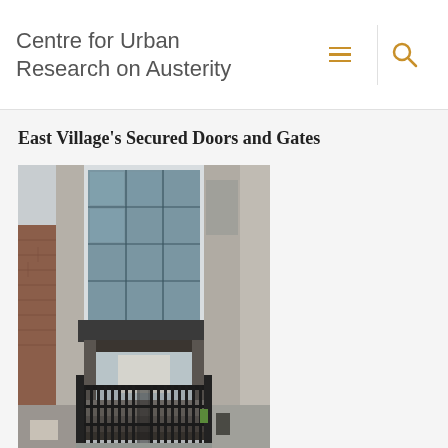Centre for Urban Research on Austerity
East Village's Secured Doors and Gates
[Figure (photo): Photograph of a modern residential building entrance with large glass facade panels on upper floors, flanked by brick and concrete walls. A black metal security gate with vertical bars is in the foreground, with steps leading up through the gate toward the building entrance.]